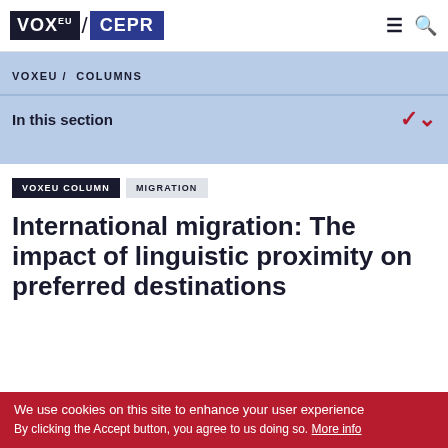VOX EU / CEPR
VOXEU / COLUMNS
In this section
VOXEU COLUMN   MIGRATION
International migration: The impact of linguistic proximity on preferred destinations
We use cookies on this site to enhance your user experience
By clicking the Accept button, you agree to us doing so. More info